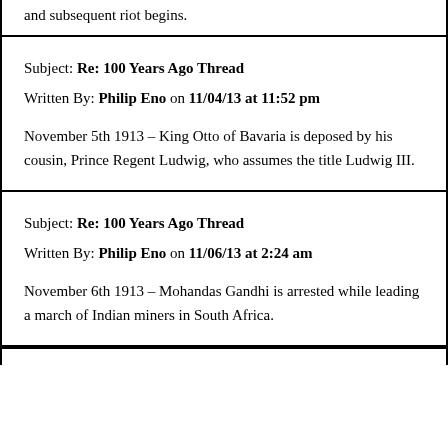and subsequent riot begins.
Subject: Re: 100 Years Ago Thread
Written By: Philip Eno on 11/04/13 at 11:52 pm
November 5th 1913 – King Otto of Bavaria is deposed by his cousin, Prince Regent Ludwig, who assumes the title Ludwig III.
Subject: Re: 100 Years Ago Thread
Written By: Philip Eno on 11/06/13 at 2:24 am
November 6th 1913 – Mohandas Gandhi is arrested while leading a march of Indian miners in South Africa.